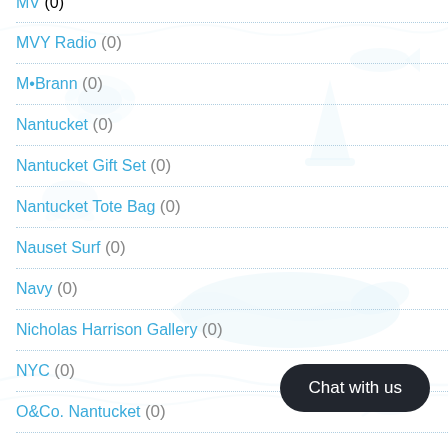MV (0)
MVY Radio (0)
M•Brann (0)
Nantucket (0)
Nantucket Gift Set (0)
Nantucket Tote Bag (0)
Nauset Surf (0)
Navy (0)
Nicholas Harrison Gallery (0)
NYC (0)
O&Co. Nantucket (0)